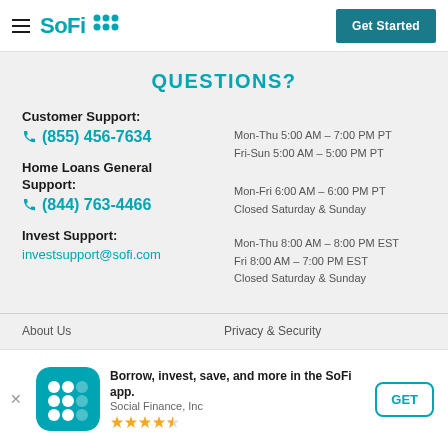SoFi — Get Started
QUESTIONS?
Customer Support:
☎ (855) 456-7634
Mon-Thu 5:00 AM – 7:00 PM PT
Fri-Sun 5:00 AM – 5:00 PM PT
Home Loans General Support:
☎ (844) 763-4466
Mon-Fri 6:00 AM – 6:00 PM PT
Closed Saturday & Sunday
Invest Support:
investsupport@sofi.com
Mon-Thu 8:00 AM – 8:00 PM EST
Fri 8:00 AM – 7:00 PM EST
Closed Saturday & Sunday
About Us    Privacy & Security
Borrow, invest, save, and more in the SoFi app. Social Finance, Inc ★★★★½